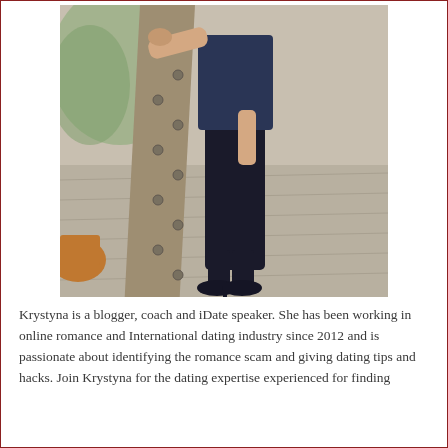[Figure (photo): A woman wearing black leggings, a dark navy top, and black heels, leaning against a wooden railing structure on a deck/boardwalk.]
Krystyna is a blogger, coach and iDate speaker. She has been working in online romance and International dating industry since 2012 and is passionate about identifying the romance scam and giving dating tips and hacks. Join Krystyna for the dating expertise experienced for finding...